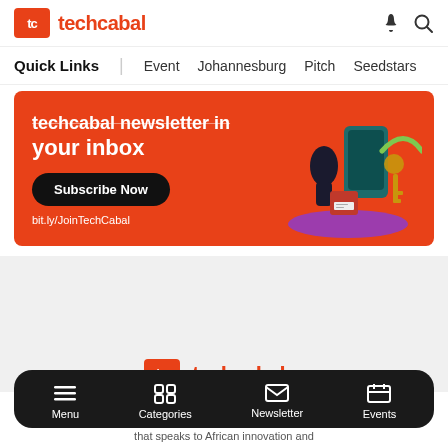techcabal
Quick Links | Event  Johannesburg  Pitch  Seedstars
[Figure (infographic): Red promotional banner for TechCabal newsletter subscription. Text: 'your inbox'. Black button 'Subscribe Now'. Text 'bit.ly/JoinTechCabal'. Illustration of phone, keys, and other objects on right side.]
[Figure (logo): TechCabal logo (tc in red box + techcabal text in red) in footer area on grey background]
Menu  Categories  Newsletter  Events
that speaks to African innovation and